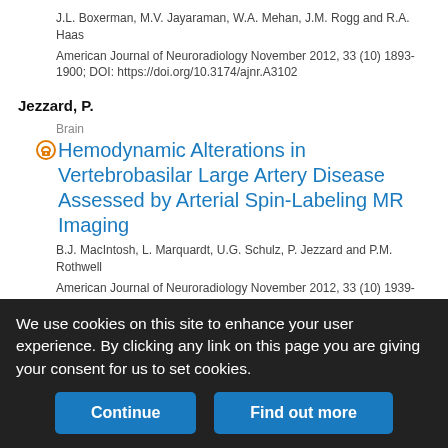J.L. Boxerman, M.V. Jayaraman, W.A. Mehan, J.M. Rogg and R.A. Haas
American Journal of Neuroradiology November 2012, 33 (10) 1893-1900; DOI: https://doi.org/10.3174/ajnr.A3102
Jezzard, P.
Brain
Hemodynamic Alterations in Vertebrobasilar Large Artery Disease Assessed by Arterial Spin-Labeling MR Imaging
B.J. MacIntosh, L. Marquardt, U.G. Schulz, P. Jezzard and P.M. Rothwell
American Journal of Neuroradiology November 2012, 33 (10) 1939-1944; DOI: https://doi.org/10.3174/ajnr.A3090
We use cookies on this site to enhance your user experience. By clicking any link on this page you are giving your consent for us to set cookies.